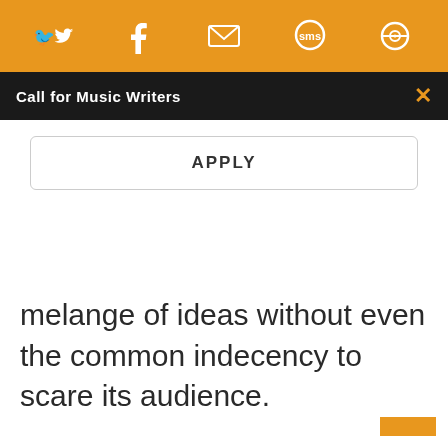[Figure (screenshot): Orange top navigation bar with social media icons: Twitter, Facebook, email/envelope, SMS speech bubble, and a circular icon]
Call for Music Writers
APPLY
melange of ideas without even the common indecency to scare its audience.
[Figure (other): Orange back-to-top arrow button in bottom right corner]